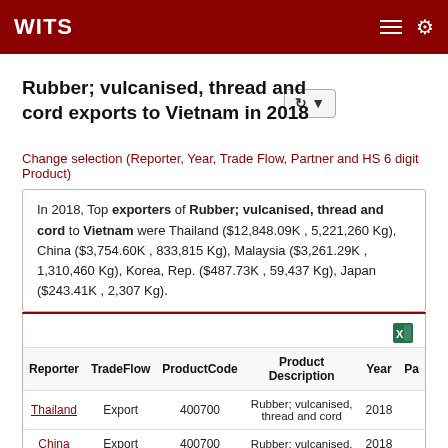WITS
Rubber; vulcanised, thread and cord exports to Vietnam in 2018
Change selection (Reporter, Year, Trade Flow, Partner and HS 6 digit Product)
In 2018, Top exporters of Rubber; vulcanised, thread and cord to Vietnam were Thailand ($12,848.09K , 5,221,260 Kg), China ($3,754.60K , 833,815 Kg), Malaysia ($3,261.29K , 1,310,460 Kg), Korea, Rep. ($487.73K , 59,437 Kg), Japan ($243.41K , 2,307 Kg).
| Reporter | TradeFlow | ProductCode | Product Description | Year | Pa |
| --- | --- | --- | --- | --- | --- |
| Thailand | Export | 400700 | Rubber; vulcanised, thread and cord | 2018 |  |
| China | Export | 400700 | Rubber; vulcanised, | 2018 |  |